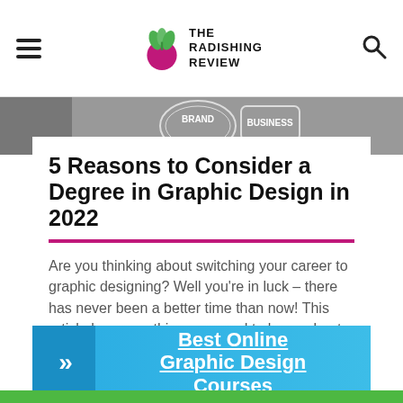THE RADISHING REVIEW
[Figure (photo): Hero image showing brand and business design items on a desk]
5 Reasons to Consider a Degree in Graphic Design in 2022
Are you thinking about switching your career to graphic designing? Well you're in luck – there has never been a better time than now! This article has everything you need to know about becoming a professional graphic designer.
Sponsored Listings
[Figure (infographic): Blue advertisement banner with arrow icon and text: Best Online Graphic Design Courses]